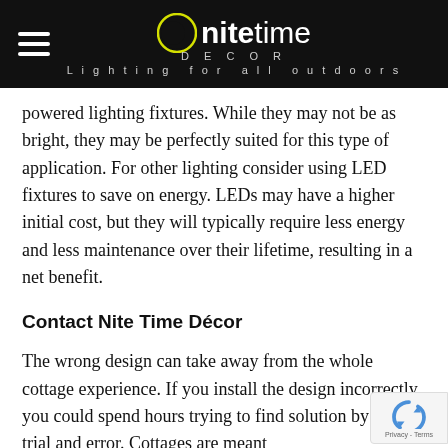[Figure (logo): Nite Time Decor logo with moon icon, white text on black background, tagline 'Lighting for all outdoors']
powered lighting fixtures. While they may not be as bright, they may be perfectly suited for this type of application. For other lighting consider using LED fixtures to save on energy. LEDs may have a higher initial cost, but they will typically require less energy and less maintenance over their lifetime, resulting in a net benefit.
Contact Nite Time Décor
The wrong design can take away from the whole cottage experience. If you install the design incorrectly, you could spend hours trying to find solution by way of trial and error. Cottages are meant